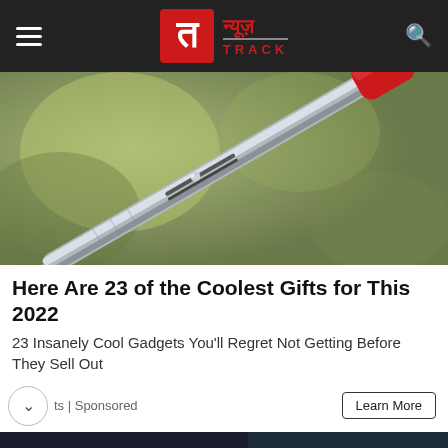न्यूज़ TRACK
[Figure (photo): Close-up photo of a metallic pen or stylus with a red cap/tip against a blurred natural green background]
Here Are 23 of the Coolest Gifts for This 2022
23 Insanely Cool Gadgets You'll Regret Not Getting Before They Sell Out
ts | Sponsored
Learn More
[Figure (photo): Advertisement banner: Download Helbiz and ride — shows a blue electric scooter handlebar area on dark background]